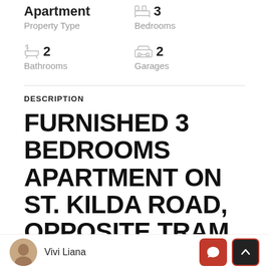Apartment | Property Type | 3 Bedrooms
2 Bathrooms | 2 Garages
DESCRIPTION
FURNISHED 3 BEDROOMS APARTMENT ON ST. KILDA ROAD, OPPOSITE TRAM STOP TOORAK
Vivi Liana